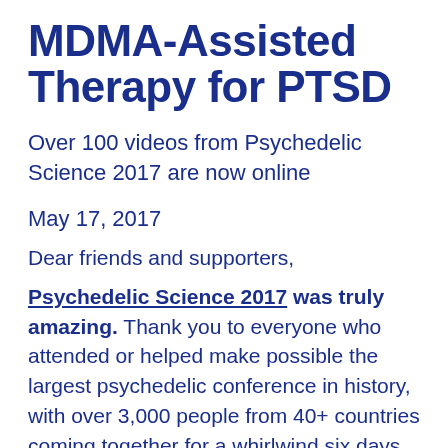MDMA-Assisted Therapy for PTSD
Over 100 videos from Psychedelic Science 2017 are now online
May 17, 2017
Dear friends and supporters,
Psychedelic Science 2017 was truly amazing. Thank you to everyone who attended or helped make possible the largest psychedelic conference in history, with over 3,000 people from 40+ countries coming together for a whirlwind six days of learning, discovery, exploration, and community-building. The New York Times called it